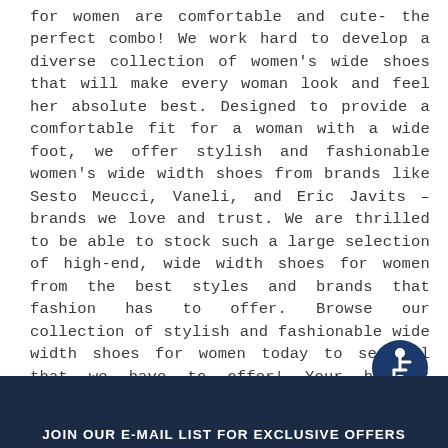for women are comfortable and cute- the perfect combo! We work hard to develop a diverse collection of women's wide shoes that will make every woman look and feel her absolute best. Designed to provide a comfortable fit for a woman with a wide foot, we offer stylish and fashionable women's wide width shoes from brands like Sesto Meucci, Vaneli, and Eric Javits – brands we love and trust. We are thrilled to be able to stock such a large selection of high-end, wide width shoes for women from the best styles and brands that fashion has to offer. Browse our collection of stylish and fashionable wide width shoes for women today to see all that we have to offer! Your biggest struggle now is deciding between the hundreds of incredible wide width shoes for women that we have to offer!
[Figure (illustration): Accessibility icon - white figure on dark blue circular background, depicting a person in a wheelchair]
JOIN OUR E-MAIL LIST FOR EXCLUSIVE OFFERS